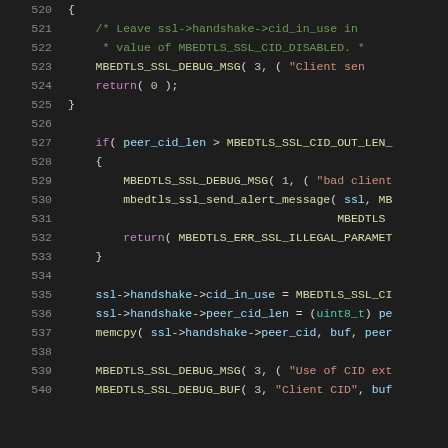[Figure (screenshot): Source code listing in a dark-themed code editor showing C code for SSL/TLS CID extension handling, lines 520-540]